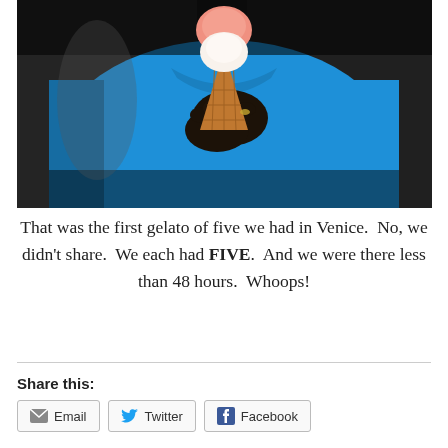[Figure (photo): A person in a bright blue polo shirt holding an ice cream cone (gelato) with two scoops — one pink/orange, one white — in a waffle cone. The background is dark interior setting.]
That was the first gelato of five we had in Venice.  No, we didn't share.  We each had FIVE.  And we were there less than 48 hours.  Whoops!
Share this:
Email
Twitter
Facebook